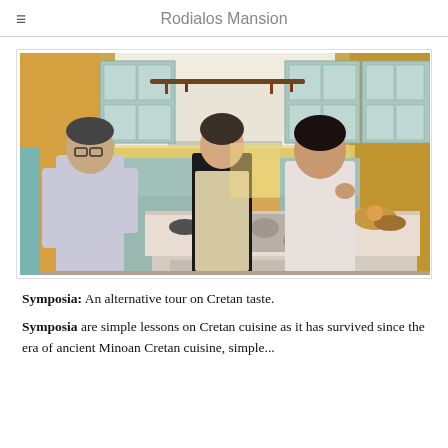Rodialos Mansion
[Figure (photo): Three people standing around a kitchen island in a rustic kitchen with light blue cabinetry. One man on the left in a white shirt, a woman in the middle wearing an apron, and a woman on the right in a sleeveless top. Kitchen items and food on the counter. Large range hood overhead.]
Symposia: An alternative tour on Cretan taste.
Symposia are simple lessons on Cretan cuisine as it has survived since the era of ancient Minoan Cretan cuisine, simple...